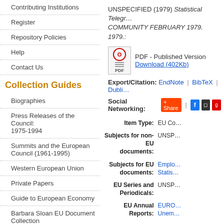Contributing Institutions
Register
Repository Policies
Help
Contact Us
Collection Guides
Biographies
Press Releases of the Council: 1975-1994
Summits and the European Council (1961-1995)
Western European Union
Private Papers
Guide to European Economy
Barbara Sloan EU Document Collection
Search and Browse
UNSPECIFIED (1979) Statistical Telegr... COMMUNITY FEBRUARY 1979. 1979.:
[Figure (other): PDF document icon]
PDF - Published Version
Download (402Kb)
Export/Citation: EndNote | BibTeX | Dubli...
Social Networking: +Share | Facebook | other icons
| Field | Value |
| --- | --- |
| Item Type: | EU Co... |
| Subjects for non-EU documents: | UNSP... |
| Subjects for EU documents: | Emplo... Statis... |
| EU Series and Periodicals: | UNSP... |
| EU Annual Reports: | EURO... Unem... |
| Institutional Author: | Europ... |
| Depositing User: | Phil W... |
| Official EU Document: | Yes |
| Language: | Englis... |
| Date Deposited: | 28 Ap... |